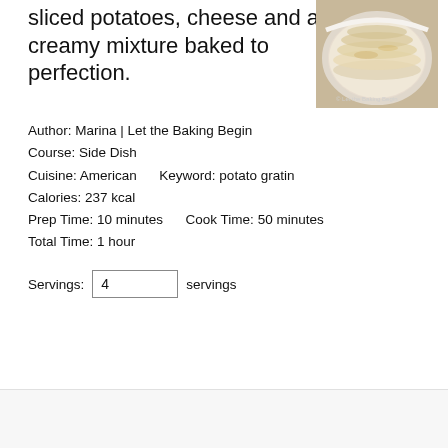sliced potatoes, cheese and a creamy mixture baked to perfection.
[Figure (photo): Overhead photo of a white oval baking dish filled with sliced potato gratin, golden and layered, with a watermark reading '© Let the Baking Begin']
Author: Marina | Let the Baking Begin
Course: Side Dish
Cuisine: American      Keyword: potato gratin
Calories: 237 kcal
Prep Time: 10 minutes      Cook Time: 50 minutes
Total Time: 1 hour
Servings: 4 servings